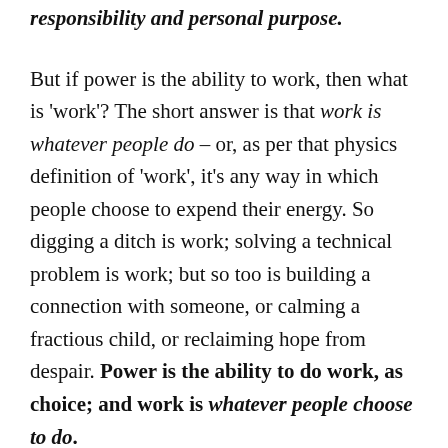responsibility and personal purpose.
But if power is the ability to work, then what is 'work'? The short answer is that work is whatever people do – or, as per that physics definition of 'work', it's any way in which people choose to expend their energy. So digging a ditch is work; solving a technical problem is work; but so too is building a connection with someone, or calming a fractious child, or reclaiming hope from despair. Power is the ability to do work, as choice; and work is whatever people choose to do.
To get a bit more clarity on what work actually is, and also link it back to our other domains in